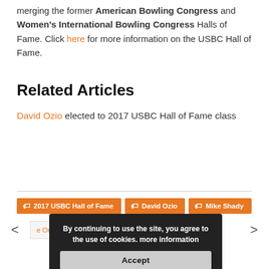merging the former American Bowling Congress and Women's International Bowling Congress Halls of Fame. Click here for more information on the USBC Hall of Fame.
Related Articles
David Ozio elected to 2017 USBC Hall of Fame class
2017 USBC Hall of Fame
David Ozio
Mike Shady
e Orleans Hotel and Casi...
By continuing to use the site, you agree to the use of cookies. more information
Accept